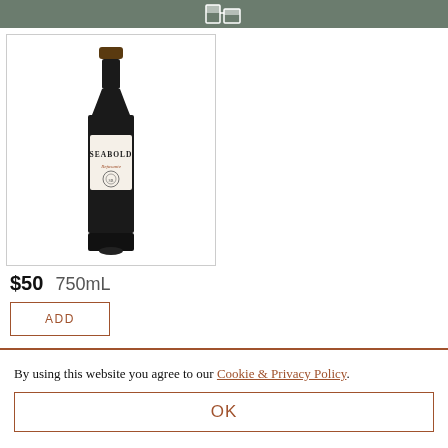[Figure (photo): A dark wine bottle with a cream/white label reading SEABOLD in bold serif letters, with a script subtitle and a circular emblem below. The bottle is tall and slender with a dark neck foil.]
$50  750mL
ADD
By using this website you agree to our Cookie & Privacy Policy.
OK